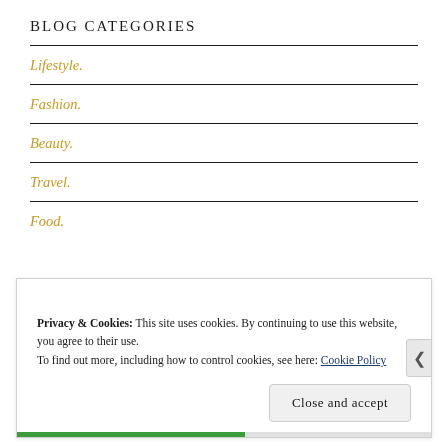BLOG CATEGORIES
Lifestyle.
Fashion.
Beauty.
Travel.
Food.
Privacy & Cookies: This site uses cookies. By continuing to use this website, you agree to their use.
To find out more, including how to control cookies, see here: Cookie Policy
Close and accept